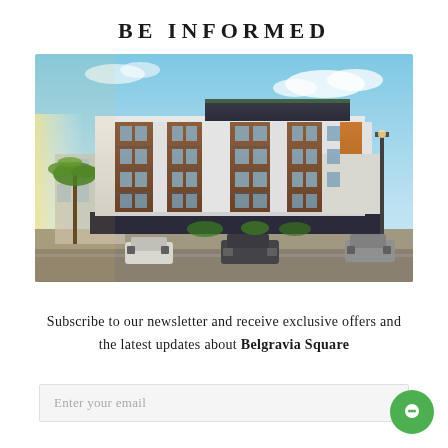BE INFORMED
[Figure (photo): Architectural rendering of Belgravia Square residential building complex, a modern multi-storey apartment building with balconies, wood paneling accents, white facade, ground floor retail/parking, street view with cars, palm trees and lamp posts]
Subscribe to our newsletter and receive exclusive offers and the latest updates about Belgravia Square
Enter your email